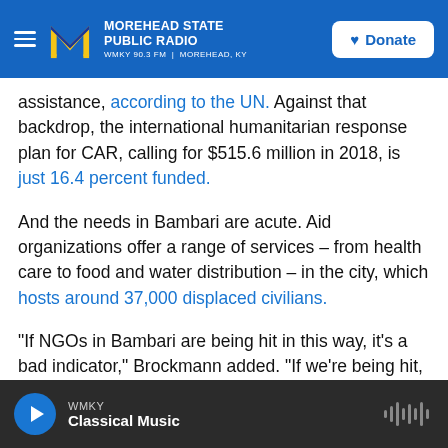Morehead State Public Radio — WMKY 90.3 FM | Morehead, KY — Donate
assistance, according to the UN. Against that backdrop, the international humanitarian response plan for CAR, calling for $515.6 million in 2018, is just 16.4 percent funded.
And the needs in Bambari are acute. Aid organizations offer a range of services – from health care to food and water distribution – in the city, which hosts around 37,000 displaced civilians.
"If NGOs in Bambari are being hit in this way, it's a bad indicator," Brockmann added. "If we're being hit, imagine how much worse it is for the
WMKY — Classical Music